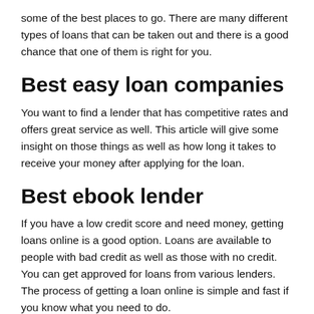some of the best places to go. There are many different types of loans that can be taken out and there is a good chance that one of them is right for you.
Best easy loan companies
You want to find a lender that has competitive rates and offers great service as well. This article will give some insight on those things as well as how long it takes to receive your money after applying for the loan.
Best ebook lender
If you have a low credit score and need money, getting loans online is a good option. Loans are available to people with bad credit as well as those with no credit. You can get approved for loans from various lenders. The process of getting a loan online is simple and fast if you know what you need to do.